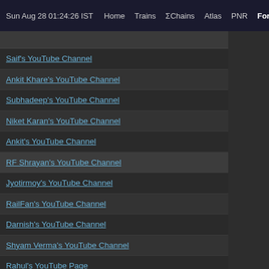Sun Aug 28 01:24:26 IST  Home  Trains  ΣChains  Atlas  PNR  Forum  Quiz R
Saif's YouTube Channel
Ankit Khare's YouTube Channel
Subhadeep's YouTube Channel
Niket Karan's YouTube Channel
Ankit's YouTube Channel
RF Shrayan's YouTube Channel
Jyotirmoy's YouTube Channel
RailFan's YouTube Channel
Darnish's YouTube Channel
Shyam Verma's YouTube Channel
Rahul's YouTube Page
Ashok's YouTube Channel
Awes's YouTube Channel
RC...YouTube...